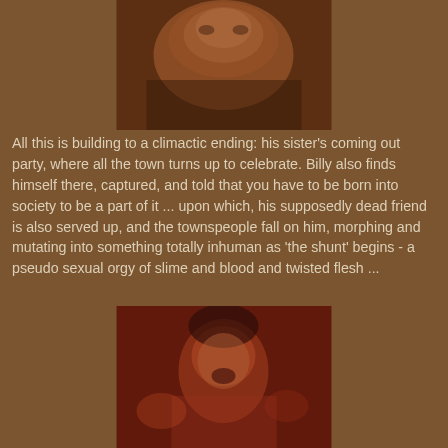[Figure (photo): A close-up still from a horror film showing a distorted or mutated face/body]
All this is building to a climactic ending: his sister's coming out party, where all the town turns up to celebrate. Billy also finds himself there, captured, and told that you have to be born into society to be a part of it ... upon which, his supposedly dead friend is also served up, and the townspeople fall on him, morphing and mutating into something totally inhuman as 'the shunt' begins - a pseudo sexual orgy of slime and blood and twisted flesh ...
[Figure (photo): A still from a horror film showing a young man with wet face, mouth open, in distress, in a reddish-lit scene]
Of course for the horror fan, this is simply awesome, and seeing the name Screaming Mad George on the credits for